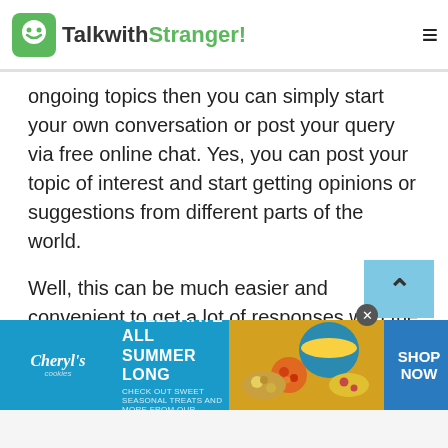TalkwithStranger!
ongoing topics then you can simply start your own conversation or post your query via free online chat. Yes, you can post your topic of interest and start getting opinions or suggestions from different parts of the world.
Well, this can be much easier and convenient to get a lot of responses with the comfort of your home. So, whenever you get bored or need help you can freely join TWS community chat. We guarantee you can surely find solutions to your problems. Would you like to take a break from your hectic routine?
[Figure (screenshot): Advertisement banner for Cheryl's Cookies: CELEBRATE ALL SUMMER LONG with image of summer food spread and SHOP NOW call to action]